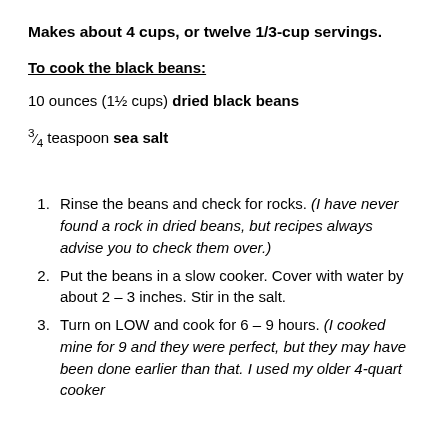Makes about 4 cups, or twelve 1/3-cup servings.
To cook the black beans:
10 ounces (1½ cups) dried black beans
¾ teaspoon sea salt
Rinse the beans and check for rocks. (I have never found a rock in dried beans, but recipes always advise you to check them over.)
Put the beans in a slow cooker. Cover with water by about 2 – 3 inches. Stir in the salt.
Turn on LOW and cook for 6 – 9 hours. (I cooked mine for 9 and they were perfect, but they may have been done earlier than that. I used my older 4-quart cooker